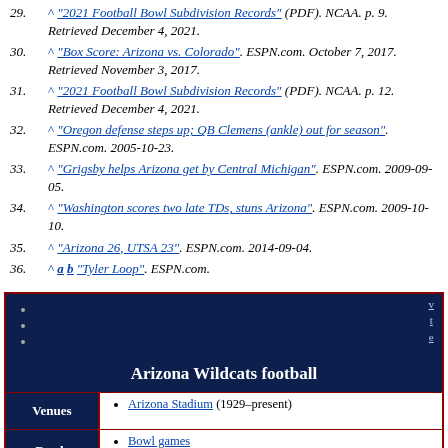29. ^ "2021 Football Bowl Subdivision Records" (PDF). NCAA. p. 9. Retrieved December 4, 2021.
30. ^ "Box Score: Arizona vs. Colorado". ESPN.com. October 7, 2017. Retrieved November 3, 2017.
31. ^ "2021 Football Bowl Subdivision Records" (PDF). NCAA. p. 12. Retrieved December 4, 2021.
32. ^ "Oregon defense steps up; QB Clemens (ankle) out for season". ESPN.com. 2005-10-23.
33. ^ "Grigsby helps Arizona get by Central Michigan". ESPN.com. 2009-09-05.
34. ^ "Washington scores two late TDs, stuns Arizona". ESPN.com. 2009-10-10.
35. ^ "Arizona 26, UTSA 23". ESPN.com. 2014-09-04.
36. ^ a b "Tyler Loop". ESPN.com.
[Figure (infographic): Arizona Wildcats football Wikipedia navbox with dark navy background, red border, v/t/e links, title 'Arizona Wildcats football', Venues row showing Arizona Stadium (1929-present), Bowls row showing Bowl games and Arizona State (Territorial Cup)]